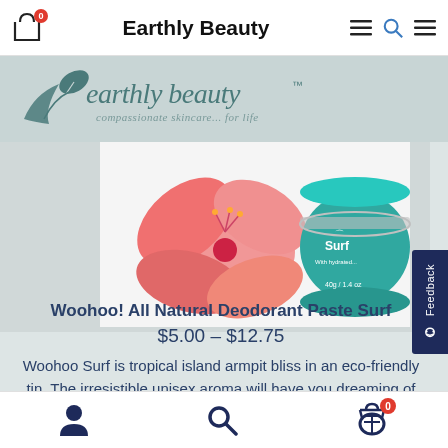Earthly Beauty
[Figure (logo): Earthly Beauty logo with bird and leaf motif, text 'earthly beauty™ compassionate skincare... for life']
[Figure (photo): Product photo of Woohoo Surf deodorant paste tin (40g / 1.4oz) with a pink hibiscus flower on white background]
Woohoo! All Natural Deodorant Paste Surf
$5.00 – $12.75
Woohoo Surf is tropical island armpit bliss in an eco-friendly tin. The irresistible unisex aroma will have you dreaming of surf and sunsets, and the oh-so-smooth and
Navigation icons: account, search, cart (0)